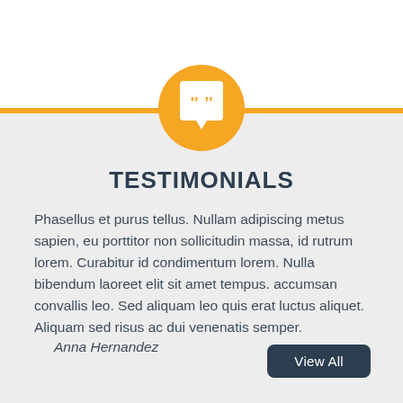[Figure (illustration): Orange circle with white speech bubble containing quotation mark icon]
TESTIMONIALS
Phasellus et purus tellus. Nullam adipiscing metus sapien, eu porttitor non sollicitudin massa, id rutrum lorem. Curabitur id condimentum lorem. Nulla bibendum laoreet elit sit amet tempus. accumsan convallis leo. Sed aliquam leo quis erat luctus aliquet. Aliquam sed risus ac dui venenatis semper.
Anna Hernandez
View All